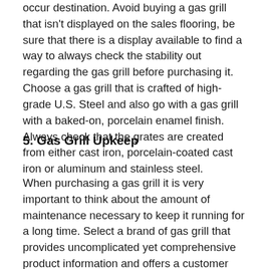occur destination. Avoid buying a gas grill that isn't displayed on the sales flooring, be sure that there is a display available to find a way to always check the stability out regarding the gas grill before purchasing it. Choose a gas grill that is crafted of high-grade U.S. Steel and also go with a gas grill with a baked-on, porcelain enamel finish. Always check that the grates are created from either cast iron, porcelain-coated cast iron or aluminum and stainless steel.
5. Gas Grill Upkeep
When purchasing a gas grill it is very important to think about the amount of maintenance necessary to keep it running for a long time. Select a brand of gas grill that provides uncomplicated yet comprehensive product information and offers a customer service line that is toll-free. Check if the brand name provide trouble-free access to parts and services and also a dependable